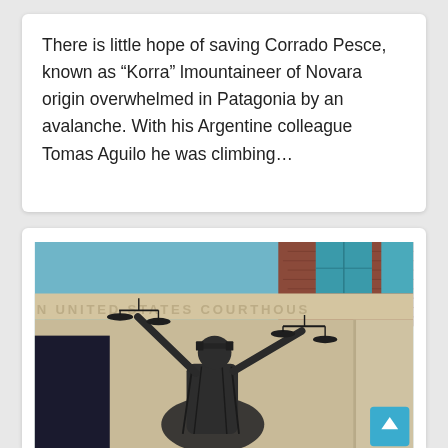There is little hope of saving Corrado Pesce, known as “Korra” lmountaineer of Novara origin overwhelmed in Patagonia by an avalanche. With his Argentine colleague Tomas Aguilo he was climbing…
[Figure (photo): Photo of a Lady Justice statue in bronze with scales, arms raised, in front of a United States Courthouse building with stone facade and brick upper section.]